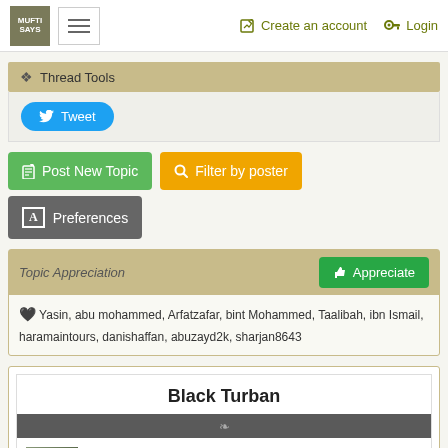MUFTI SAYS | Create an account | Login
❖ Thread Tools
Tweet
Post New Topic
Filter by poster
A Preferences
Topic Appreciation
Yasin, abu mohammed, Arfatzafar, bint Mohammed, Taalibah, ibn Ismail, haramaintours, danishaffan, abuzayd2k, sharjan8643
Black Turban
#271 [Permalink] Posted on 21st January 2015 15:29